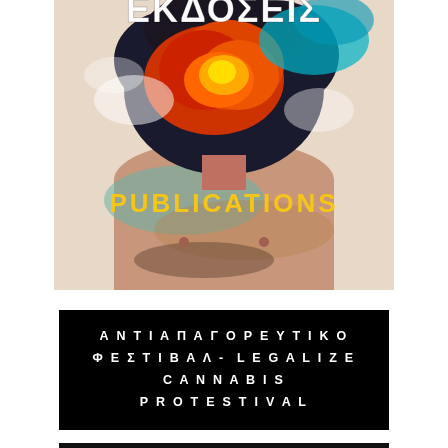[Figure (illustration): Book cover image showing a shirtless person with an explosive fire and smoke cloud replacing their head, with colorful smoke on the torso. Large white bold Greek text 'ΕΚΔΟΣΕΙΣ' at the top and bold yellow text 'PUBLICATIONS' in the lower middle of the image.]
ΑΝΤΙΑΠΑΓΟΡΕΥΤΙΚΟ ΦΕΣΤΙΒΑΛ- LEGALIZE CANNABIS PROTESTIVAL